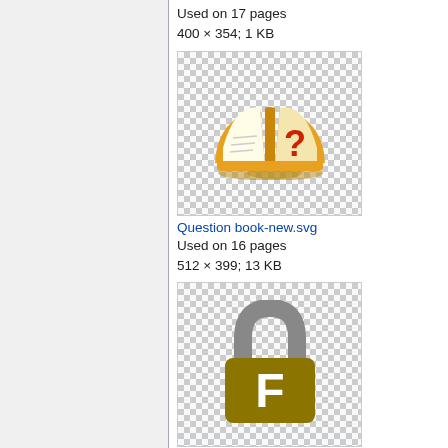Used on 17 pages
400 × 354; 1 KB
[Figure (illustration): Open book icon with a red question mark on the right page, orange cover, on a transparent (checkered) background]
Question book-new.svg
Used on 16 pages
512 × 399; 13 KB
[Figure (illustration): Padlock icon with a gray shackle on top and a dark golden/olive body with a white letter F, on a transparent (checkered) background]
Full-protection-shackle…